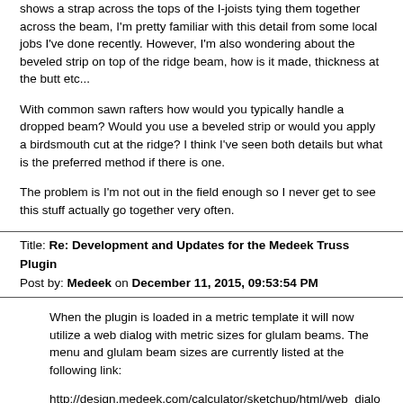shows a strap across the tops of the I-joists tying them together across the beam, I'm pretty familiar with this detail from some local jobs I've done recently. However, I'm also wondering about the beveled strip on top of the ridge beam, how is it made, thickness at the butt etc...
With common sawn rafters how would you typically handle a dropped beam?  Would you use a beveled strip or would you apply a birdsmouth cut at the ridge?  I think I've seen both details but what is the preferred method if there is one.
The problem is I'm not out in the field enough so I never get to see this stuff actually go together very often.
Title: Re: Development and Updates for the Medeek Truss Plugin
Post by: Medeek on December 11, 2015, 09:53:54 PM
When the plugin is loaded in a metric template it will now utilize a web dialog with metric sizes for glulam beams.  The menu and glulam beam sizes are currently listed at the following link:
http://design.medeek.com/calculator/sketchup/html/web_dialog_glulam_
I probably don't list every combination possible or manufactured in each respective country or jurisdiction but hopefully I list the most common sizes.  So far I have entered in data for the United Kingdom